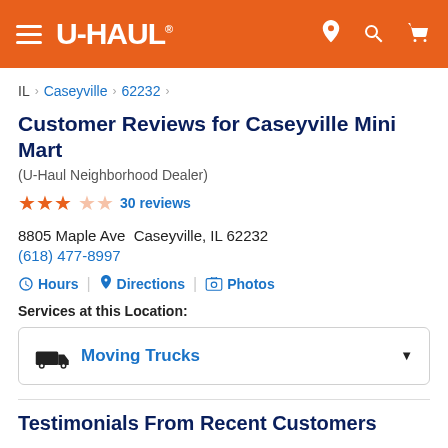U-HAUL
IL > Caseyville > 62232
Customer Reviews for Caseyville Mini Mart
(U-Haul Neighborhood Dealer)
★★★☆☆ 30 reviews
8805 Maple Ave  Caseyville, IL 62232
(618) 477-8997
Hours | Directions | Photos
Services at this Location:
Moving Trucks
Testimonials From Recent Customers